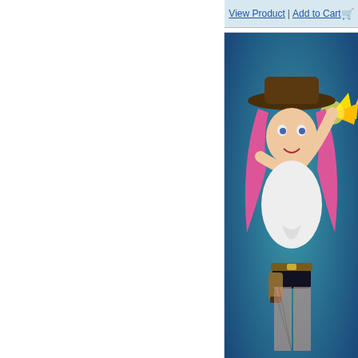[Figure (other): Action bar with View Product and Add to Cart links at top]
[Figure (illustration): Illustration titled Bang! Bang! by JR Linton - pink-haired cowgirl character shooting a gun with muzzle flash, blue background]
Bang! Bang!
JR Linton
[Figure (other): Action bar with View Product and Add to Cart links]
[Figure (illustration): Partial illustration at bottom showing orange-haired character with green element, blue background]